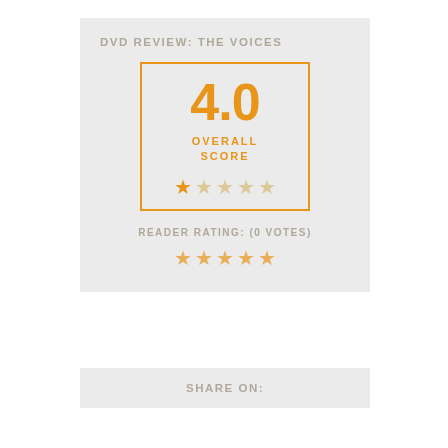DVD REVIEW: THE VOICES
[Figure (infographic): Overall score box showing 4.0 with 5 stars (1 filled, 4 empty in orange/tan) and text OVERALL SCORE]
READER RATING: (0 VOTES)
[Figure (infographic): 5 reader rating stars all in orange/tan]
SHARE ON: